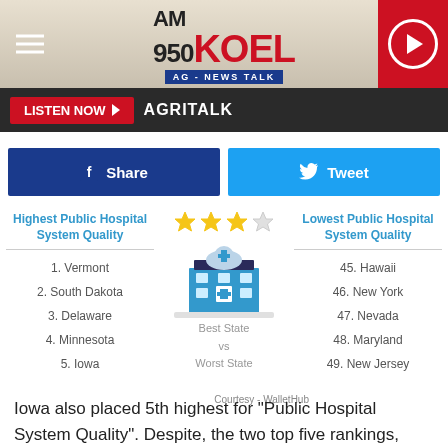AM 950 KOEL AG-NEWS TALK
LISTEN NOW ▶  AGRITALK
f  Share     Tweet
[Figure (infographic): Infographic showing Highest and Lowest Public Hospital System Quality rankings with a hospital illustration in the center. Left column: 1. Vermont, 2. South Dakota, 3. Delaware, 4. Minnesota, 5. Iowa. Right column: 45. Hawaii, 46. New York, 47. Nevada, 48. Maryland, 49. New Jersey. Center label: Best State vs Worst State. Courtesy - WalletHub.]
Iowa also placed 5th highest for "Public Hospital System Quality". Despite, the two top five rankings, lower scores on